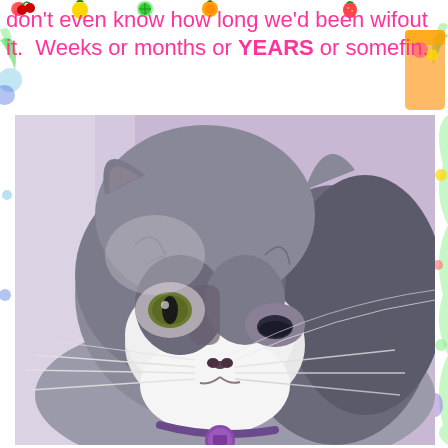don't even know how long we'd been wifout it.  Weeks or months or YEARS or somefin.
[Figure (photo): Close-up photograph of a fluffy grey and white cat with green/yellow eyes and a purple collar tag, looking slightly to the side with a serious expression.]